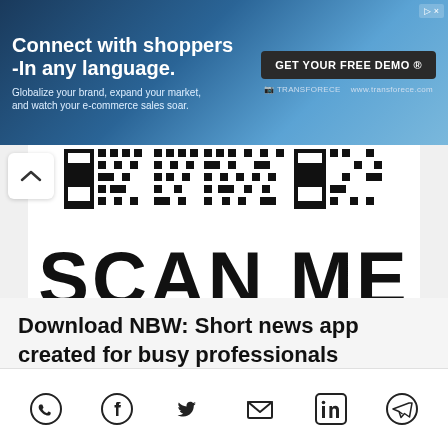[Figure (screenshot): Advertisement banner: 'Connect with shoppers -In any language.' with a GET YOUR FREE DEMO button on a blue/teal gradient background]
[Figure (illustration): App QR code scan screen showing QR code pattern at top, large 'SCAN ME' text, and a blue rounded rectangle with a circular camera icon below]
Download NBW: Short news app created for busy professionals like you
[Figure (infographic): Bottom share bar with WhatsApp, Facebook, Twitter, Email, LinkedIn, and Telegram icons]